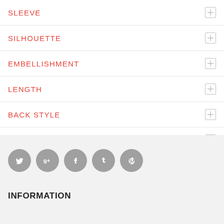SLEEVE
SILHOUETTE
EMBELLISHMENT
LENGTH
BACK STYLE
WAIST
[Figure (illustration): Social media icons: Twitter, Google+, Facebook, Tumblr, Pinterest]
INFORMATION